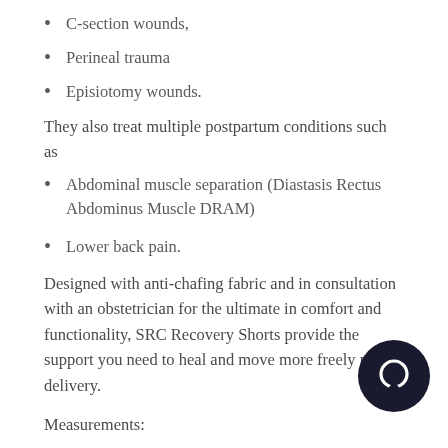C-section wounds,
Perineal trauma
Episiotomy wounds.
They also treat multiple postpartum conditions such as
Abdominal muscle separation (Diastasis Rectus Abdominus Muscle DRAM)
Lower back pain.
Designed with anti-chafing fabric and in consultation with an obstetrician for the ultimate in comfort and functionality, SRC Recovery Shorts provide the support you need to heal and move more freely post-delivery.
Measurements:
Correct measurement for our garments is crucial. As